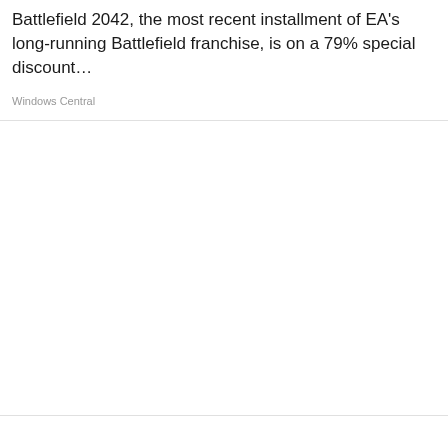Battlefield 2042, the most recent installment of EA's long-running Battlefield franchise, is on a 79% special discount…
Windows Central